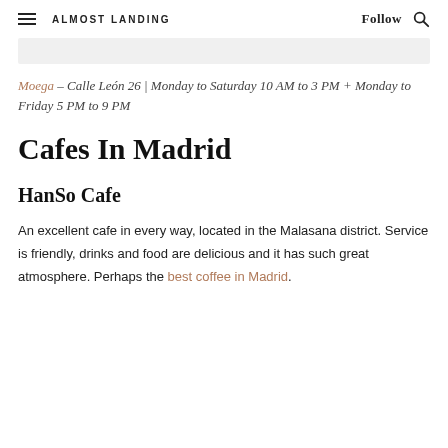ALMOST LANDING   Follow 🔍
Moega – Calle León 26 | Monday to Saturday 10 AM to 3 PM + Monday to Friday 5 PM to 9 PM
Cafes In Madrid
HanSo Cafe
An excellent cafe in every way, located in the Malasana district. Service is friendly, drinks and food are delicious and it has such great atmosphere. Perhaps the best coffee in Madrid.